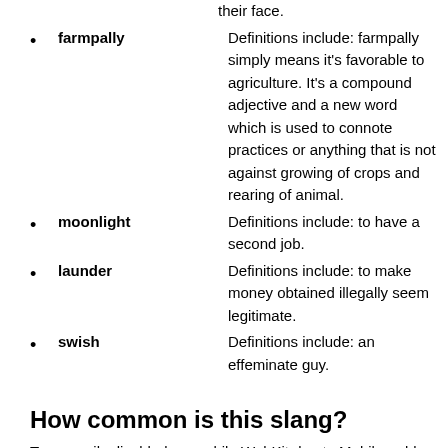their face.
farmpally — Definitions include: farmpally simply means it's favorable to agriculture. It's a compound adjective and a new word which is used to connote practices or anything that is not against growing of crops and rearing of animal.
moonlight — Definitions include: to have a second job.
launder — Definitions include: to make money obtained illegally seem legitimate.
swish — Definitions include: an effeminate guy.
How common is this slang?
Temporarily disabled on mobile WebKit due to Mobilegeddon. Sorry.
How vulgar is this slang?